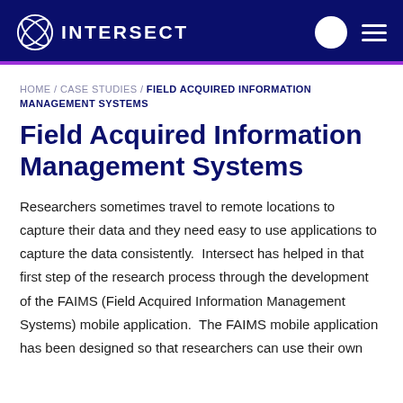INTERSECT
HOME / CASE STUDIES / FIELD ACQUIRED INFORMATION MANAGEMENT SYSTEMS
Field Acquired Information Management Systems
Researchers sometimes travel to remote locations to capture their data and they need easy to use applications to capture the data consistently.  Intersect has helped in that first step of the research process through the development of the FAIMS (Field Acquired Information Management Systems) mobile application.  The FAIMS mobile application has been designed so that researchers can use their own